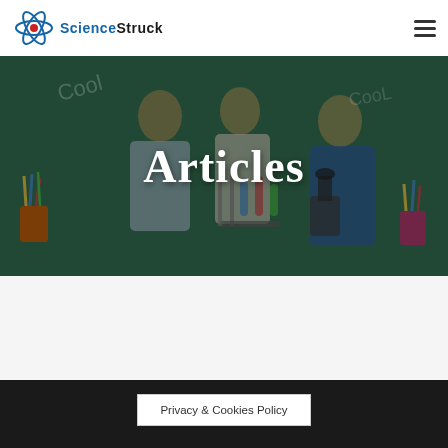[Figure (logo): ScienceStruck logo with atom icon and text]
[Figure (photo): Children and teacher looking at scientific equipment including microscope and test tubes in front of a chalkboard]
Articles
Privacy & Cookies Policy